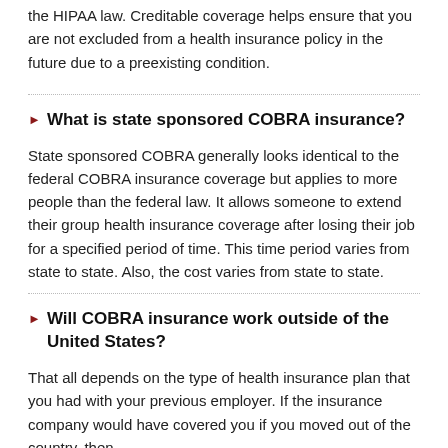the HIPAA law. Creditable coverage helps ensure that you are not excluded from a health insurance policy in the future due to a preexisting condition.
What is state sponsored COBRA insurance?
State sponsored COBRA generally looks identical to the federal COBRA insurance coverage but applies to more people than the federal law. It allows someone to extend their group health insurance coverage after losing their job for a specified period of time. This time period varies from state to state. Also, the cost varies from state to state.
Will COBRA insurance work outside of the United States?
That all depends on the type of health insurance plan that you had with your previous employer. If the insurance company would have covered you if you moved out of the country, then